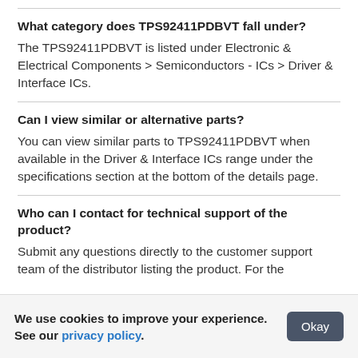What category does TPS92411PDBVT fall under?
The TPS92411PDBVT is listed under Electronic & Electrical Components > Semiconductors - ICs > Driver & Interface ICs.
Can I view similar or alternative parts?
You can view similar parts to TPS92411PDBVT when available in the Driver & Interface ICs range under the specifications section at the bottom of the details page.
Who can I contact for technical support of the product?
Submit any questions directly to the customer support team of the distributor listing the product. For the
We use cookies to improve your experience. See our privacy policy.